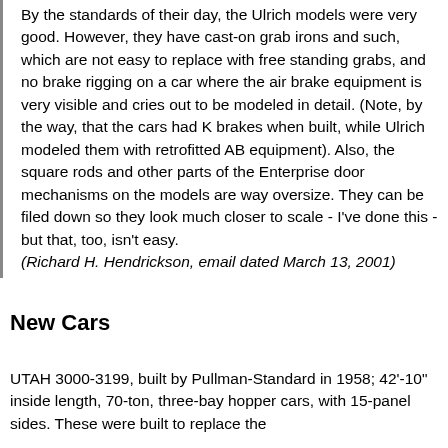By the standards of their day, the Ulrich models were very good. However, they have cast-on grab irons and such, which are not easy to replace with free standing grabs, and no brake rigging on a car where the air brake equipment is very visible and cries out to be modeled in detail. (Note, by the way, that the cars had K brakes when built, while Ulrich modeled them with retrofitted AB equipment). Also, the square rods and other parts of the Enterprise door mechanisms on the models are way oversize. They can be filed down so they look much closer to scale - I've done this - but that, too, isn't easy. (Richard H. Hendrickson, email dated March 13, 2001)
New Cars
UTAH 3000-3199, built by Pullman-Standard in 1958; 42'-10" inside length, 70-ton, three-bay hopper cars, with 15-panel sides. These were built to replace the